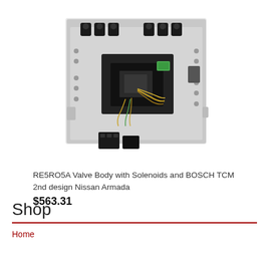[Figure (photo): RE5RO5A Valve Body with Solenoids and BOSCH TCM transmission component, showing the valve body assembly with multiple solenoids, wiring, and connectors on a silver/aluminum base with black components.]
RE5RO5A Valve Body with Solenoids and BOSCH TCM 2nd design Nissan Armada
$563.31
Shop
Home